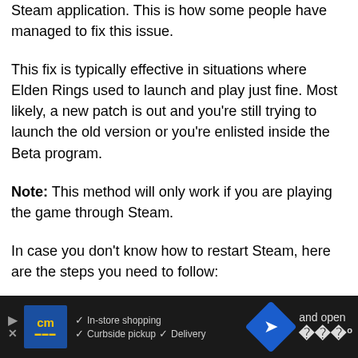Steam application. This is how some people have managed to fix this issue.
This fix is typically effective in situations where Elden Rings used to launch and play just fine. Most likely, a new patch is out and you're still trying to launch the old version or you're enlisted inside the Beta program.
Note: This method will only work if you are playing the game through Steam.
In case you don't know how to restart Steam, here are the steps you need to follow:
1. You need to start by opening the Steam application, then and open